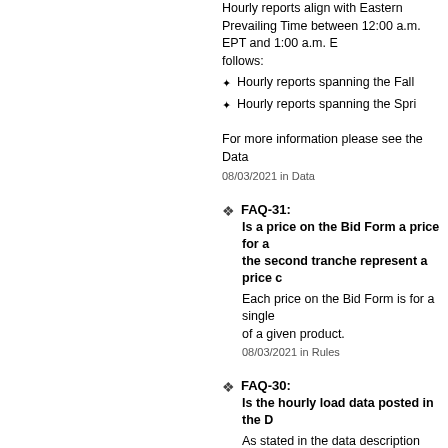Hourly reports align with Eastern Prevailing Time between 12:00 a.m. EPT and 1:00 a.m. EPT as follows:
Hourly reports spanning the Fall
Hourly reports spanning the Spri
For more information please see the Data
08/03/2021 in Data
FAQ-31: Is a price on the Bid Form a price for a the second tranche represent a price c
Each price on the Bid Form is for a single of a given product.
08/03/2021 in Rules
FAQ-30: Is the hourly load data posted in the D
As stated in the data description docume the RFP website includes applicable dist de-rated by PJM for marginal losses prio marginal loss deration factors in the Data
08/03/2021 in Data
FAQ-29: For the remaining Residential Default